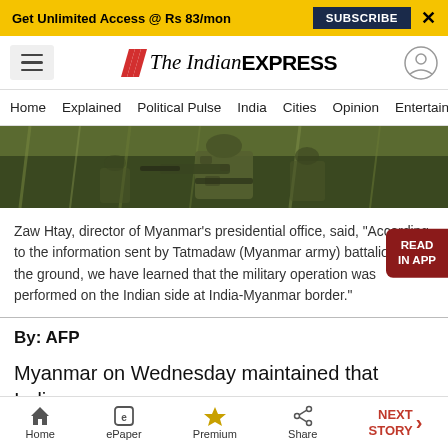Get Unlimited Access @ Rs 83/mon  SUBSCRIBE  X
[Figure (logo): The Indian Express logo with red chevrons, hamburger menu icon, and user account icon]
Home  Explained  Political Pulse  India  Cities  Opinion  Entertainment
[Figure (photo): Soldier in camouflage gear holding a weapon in a field with tall grass]
Zaw Htay, director of Myanmar's presidential office, said, "According to the information sent by Tatmadaw (Myanmar army) battalions on the ground, we have learned that the military operation was performed on the Indian side at India-Myanmar border."
By: AFP
Myanmar on Wednesday maintained that Indian for...
Home  ePaper  Premium  Share  NEXT STORY →